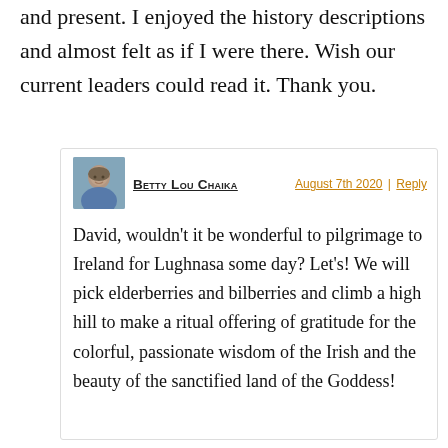and present. I enjoyed the history descriptions and almost felt as if I were there. Wish our current leaders could read it. Thank you.
[Figure (photo): Small avatar photo of a woman (Betty Lou Chaika)]
Betty Lou Chaika
August 7th 2020 | Reply
David, wouldn't it be wonderful to pilgrimage to Ireland for Lughnasa some day? Let's! We will pick elderberries and bilberries and climb a high hill to make a ritual offering of gratitude for the colorful, passionate wisdom of the Irish and the beauty of the sanctified land of the Goddess!